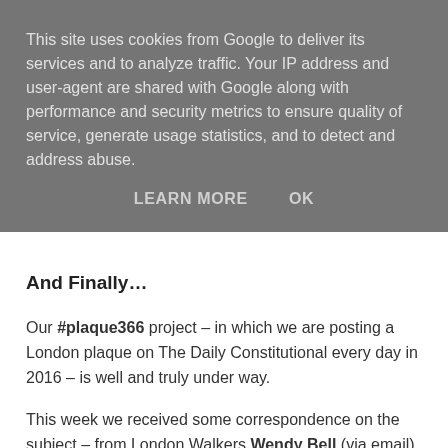This site uses cookies from Google to deliver its services and to analyze traffic. Your IP address and user-agent are shared with Google along with performance and security metrics to ensure quality of service, generate usage statistics, and to detect and address abuse.
LEARN MORE    OK
And Finally…
Our #plaque366 project – in which we are posting a London plaque on The Daily Constitutional every day in 2016 – is well and truly under way.
This week we received some correspondence on the subject – from London Walkers Wendy Bell (via email) and from Jeannine Lanigan via Twitter…